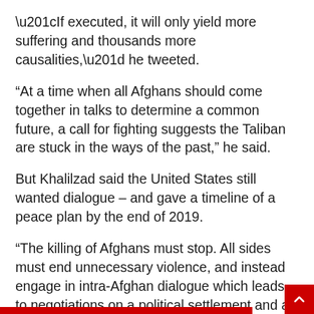“If executed, it will only yield more suffering and thousands more causalities,” he tweeted.
“At a time when all Afghans should come together in talks to determine a common future, a call for fighting suggests the Taliban are stuck in the ways of the past,” he said.
But Khalilzad said the United States still wanted dialogue – and gave a timeline of a peace plan by the end of 2019.
“The killing of Afghans must stop. All sides must end unnecessary violence, and instead engage in intra-Afghan dialogue which leads to negotiations on a political settlement and a roadmap to end the war this year,” he said.